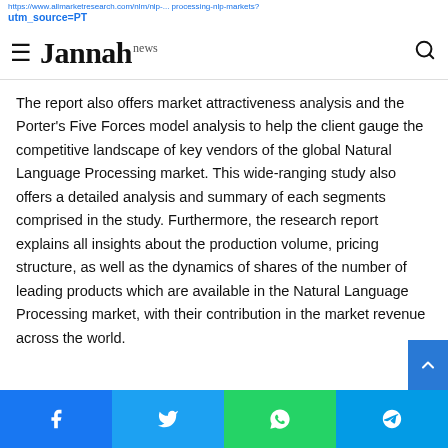https://www.allmarketresearch.com/nlm/nlp-... processing-nlp-markets? utm_source=PT
Jannah news
The report also offers market attractiveness analysis and the Porter's Five Forces model analysis to help the client gauge the competitive landscape of key vendors of the global Natural Language Processing market. This wide-ranging study also offers a detailed analysis and summary of each segments comprised in the study. Furthermore, the research report explains all insights about the production volume, pricing structure, as well as the dynamics of shares of the number of leading products which are available in the Natural Language Processing market, with their contribution in the market revenue across the world.